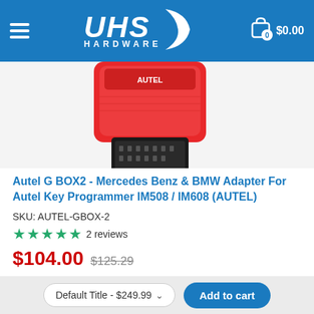UHS Hardware — Cart $0.00
[Figure (photo): Red Autel G BOX2 device with black OBD connector, partially cropped from top]
Autel G BOX2 - Mercedes Benz & BMW Adapter For Autel Key Programmer IM508 / IM608 (AUTEL)
SKU: AUTEL-GBOX-2
★★★★★ 2 reviews
$104.00  $125.29
1
Add to Cart
Default Title - $249.99   Add to cart